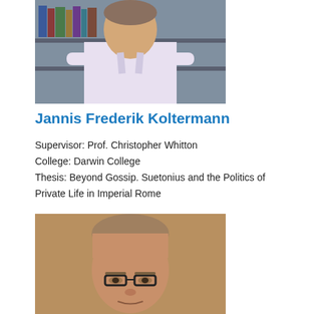[Figure (photo): Portrait photo of Jannis Frederik Koltermann standing in front of a bookshelf, wearing a white shirt]
Jannis Frederik Koltermann
Supervisor: Prof. Christopher Whitton
College: Darwin College
Thesis: Beyond Gossip. Suetonius and the Politics of Private Life in Imperial Rome
[Figure (photo): Portrait photo of a man with glasses and short hair, wearing glasses with dark frames, in front of a warm-toned background]